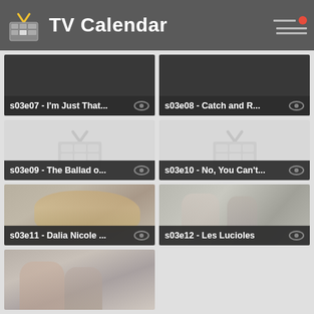TV Calendar
[Figure (screenshot): TV Calendar app grid showing episode thumbnails. s03e07 - I'm Just That..., s03e08 - Catch and R..., s03e09 - The Ballad o..., s03e10 - No, You Can't..., s03e11 - Dalia Nicole ..., s03e12 - Les Lucioles, s03e13 (partial, bottom left)]